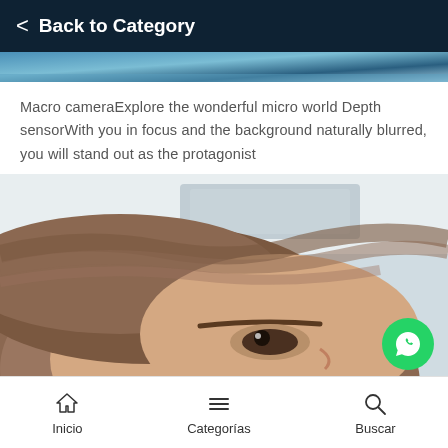Back to Category
[Figure (photo): Top strip of a blue/teal abstract image]
Macro cameraExplore the wonderful micro world Depth sensorWith you in focus and the background naturally blurred, you will stand out as the protagonist
[Figure (photo): Close-up selfie photo of a person with brown hair lying sideways, background blurred]
Inicio   Categorías   Buscar